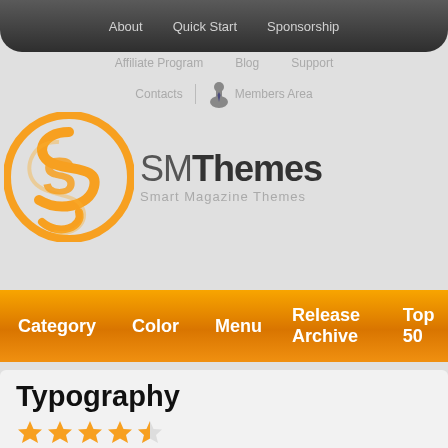About  Quick Start  Sponsorship
Affiliate Program  Blog  Support
Contacts | Members Area
[Figure (logo): SMThemes - Smart Magazine Themes logo with orange circular speech bubble icon and stylized SM text]
Category  Color  Menu  Release Archive  Top 50
Typography
[Figure (other): 4.5 star rating shown with orange filled stars (4 full, 1 half)]
Rating 4,3/5 from 1288 users
Are you searching for a premium WordPress theme for your portfolio website or photography blog? PhotoExpert is exactly what you are searching for! This modern and fully customizable free WordPress theme comes with a rich set of useful featu...